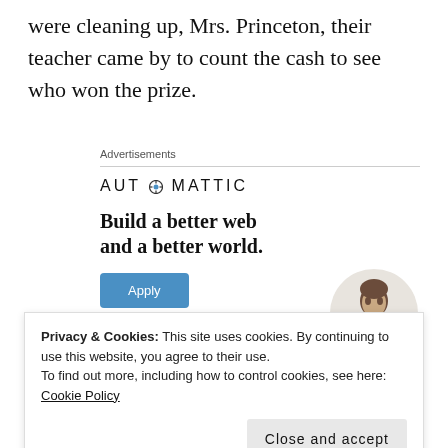were cleaning up, Mrs. Princeton, their teacher came by to count the cash to see who won the prize.
Advertisements
[Figure (screenshot): Automattic advertisement banner with logo, tagline 'Build a better web and a better world.', an Apply button, and a photo of a man.]
Privacy & Cookies: This site uses cookies. By continuing to use this website, you agree to their use. To find out more, including how to control cookies, see here: Cookie Policy
hour won the ice cream party. They begged me to keep